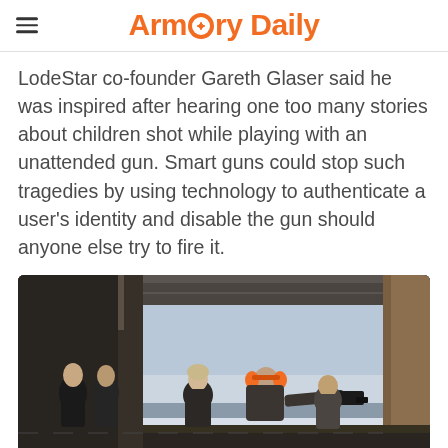Armory Daily
LodeStar co-founder Gareth Glaser said he was inspired after hearing one too many stories about children shot while playing with an unattended gun. Smart guns could stop such tragedies by using technology to authenticate a user’s identity and disable the gun should anyone else try to fire it.
[Figure (photo): People at an indoor shooting range; one person in orange earmuffs aims a handgun toward an outdoor range covered in snow, while several others stand and observe.]